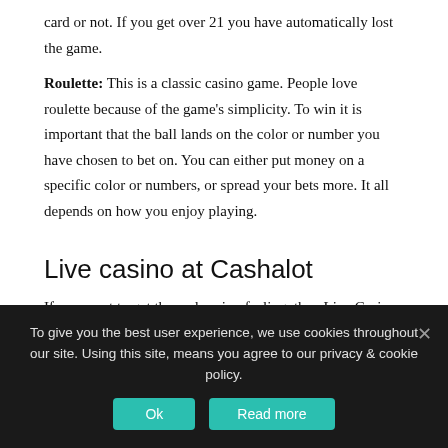card or not. If you get over 21 you have automatically lost the game.
Roulette: This is a classic casino game. People love roulette because of the game's simplicity. To win it is important that the ball lands on the color or number you have chosen to bet on. You can either put money on a specific color or numbers, or spread your bets more. It all depends on how you enjoy playing.
Live casino at Cashalot
If you want to get the real casino feeling, then Live Casino is where it's at. When playing Live casino you interact with real dealers at real tables in games like blackjack, roulette and baccarat.
To give you the best user experience, we use cookies throughout our site. Using this site, means you agree to our privacy & cookie policy.